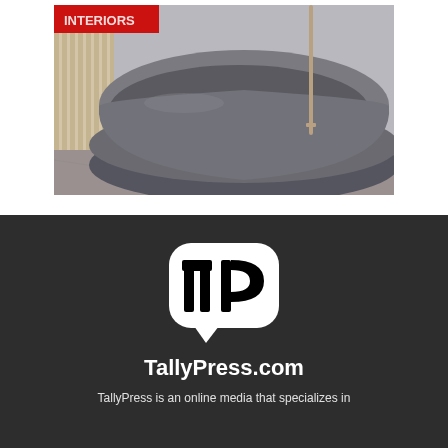[Figure (photo): Photo of a modern freestanding bathtub in a luxury bathroom setting with marble floor and wooden slat wall panels, with a tall floor-mounted faucet. A red banner/label is partially visible at the top left corner of the image.]
[Figure (logo): TallyPress.com logo: white rounded speech-bubble shape containing a black 'TP' monogram, with 'TallyPress.com' text in bold white below, on a dark charcoal background.]
TallyPress is an online media that specializes in